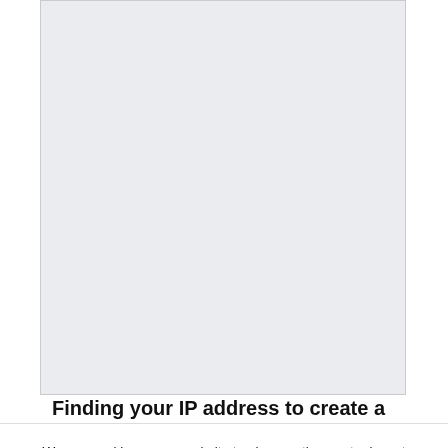[Figure (screenshot): Screenshot of a webpage showing a gray/light blue content area inside a bordered box]
Finding your IP address to create a
We use cookies on our website to give you the most relevant experience by remembering your preferences and repeat visits. By clicking “Accept”, you consent to the use of all cookies.
Accept
need to make use of when setting up your server. You may discover a guide on doing
this right here. You can go over to their neighborhood web page to learn the way